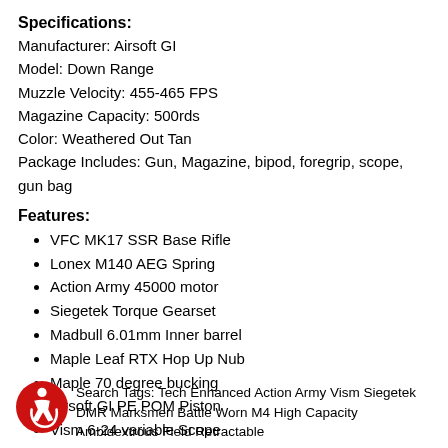Specifications:
Manufacturer: Airsoft GI
Model: Down Range
Muzzle Velocity: 455-465 FPS
Magazine Capacity: 500rds
Color: Weathered Out Tan
Package Includes: Gun, Magazine, bipod, foregrip, scope, gun bag
Features:
VFC MK17 SSR Base Rifle
Lonex M140 AEG Spring
Action Army 45000 motor
Siegetek Torque Gearset
Madbull 6.01mm Inner barrel
Maple Leaf RTX Hop Up Nub
Maple 70 degree bucking
Airsoft GI PE POM Piston
Vism 6-24 variable Scope
NC STAR Precision Bipod
NcSTAR 42in Gun Bag
Search Tags: Tech Enhanced Action Army Vism Siegetek DMR Marksmen Battle Worn M4 High Capacity Ambidextrous Field Retractable